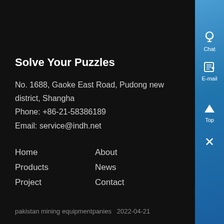Solve Your Puzzles
No. 1688, Gaoke East Road, Pudong new district, Shangha
Phone: +86-21-58386189
Email: service@indh.net
Home
About
Products
News
Project
Contact
pakistan mining equipmentpanies  2022-04-21